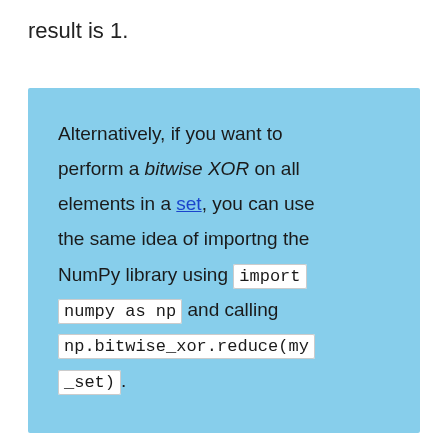result is 1.
Alternatively, if you want to perform a bitwise XOR on all elements in a set, you can use the same idea of importng the NumPy library using import numpy as np and calling np.bitwise_xor.reduce(my_set).